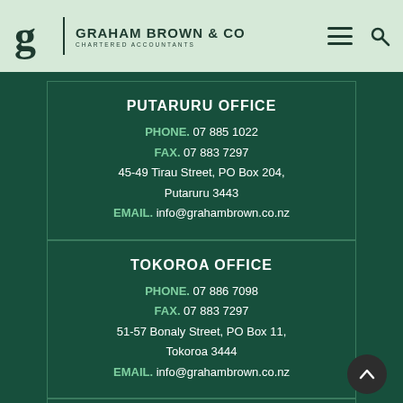GRAHAM BROWN & CO CHARTERED ACCOUNTANTS
PUTARURU OFFICE
PHONE. 07 885 1022
FAX. 07 883 7297
45-49 Tirau Street, PO Box 204, Putaruru 3443
EMAIL. info@grahambrown.co.nz
TOKOROA OFFICE
PHONE. 07 886 7098
FAX. 07 883 7297
51-57 Bonaly Street, PO Box 11, Tokoroa 3444
EMAIL. info@grahambrown.co.nz
Find us on Linkedin
Graham Brown & Co Ltd © 2018